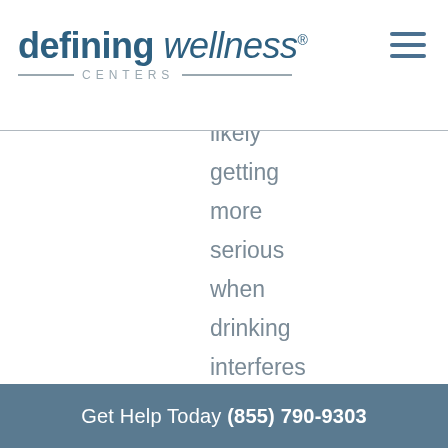defining wellness® CENTERS
likely getting more serious when drinking interferes with work, school, family
Get Help Today (855) 790-9303